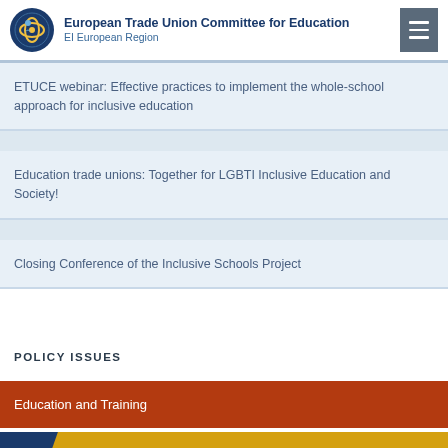European Trade Union Committee for Education
EI European Region
ETUCE webinar: Effective practices to implement the whole-school approach for inclusive education
Education trade unions: Together for LGBTI Inclusive Education and Society!
Closing Conference of the Inclusive Schools Project
POLICY ISSUES
Education and Training
Education Professionals